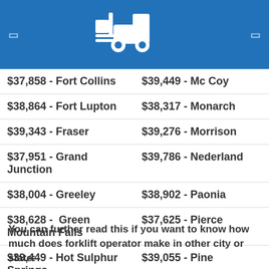Forklift operator salary page
| $37,858 - Fort Collins | $39,449 - Mc Coy |
| $38,864 - Fort Lupton | $38,317 - Monarch |
| $39,343 - Fraser | $39,276 - Morrison |
| $37,951 - Grand Junction | $39,786 - Nederland |
| $38,004 - Greeley | $38,902 - Paonia |
| $38,628 - Green Mountain Falls | $37,625 - Pierce |
| $39,449 - Hot Sulphur Springs | $39,055 - Pine |
| $38,878 - Hudson | $39,838 - Pinecliffe |
You can further read this if you want to know how much does forklift operator make in other city or state: